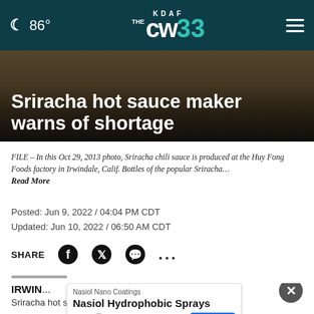🌙 86° | KDAF THE CW33 | ☰
Sriracha hot sauce maker warns of shortage
FILE – In this Oct 29, 2013 photo, Sriracha chili sauce is produced at the Huy Fong Foods factory in Irwindale, Calif. Bottles of the popular Sriracha… Read More
Posted: Jun 9, 2022 / 04:04 PM CDT
Updated: Jun 10, 2022 / 06:50 AM CDT
SHARE
IRWIN…
Sriracha hot sauce could be hard to find on store...